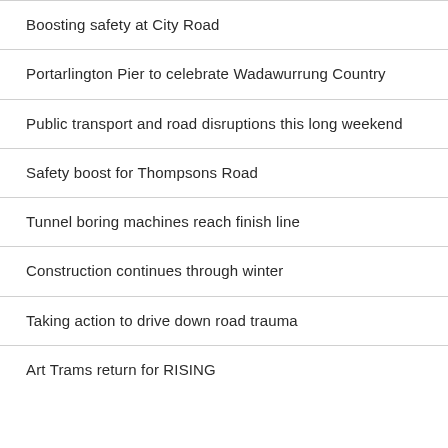Boosting safety at City Road
Portarlington Pier to celebrate Wadawurrung Country
Public transport and road disruptions this long weekend
Safety boost for Thompsons Road
Tunnel boring machines reach finish line
Construction continues through winter
Taking action to drive down road trauma
Art Trams return for RISING